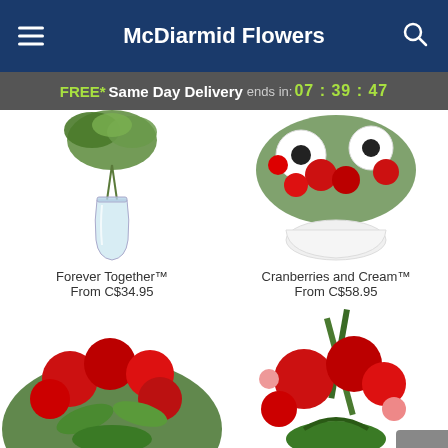McDiarmid Flowers
FREE* Same Day Delivery ends in: 07 : 39 : 47
[Figure (photo): Flower arrangement in a clear glass vase with green foliage — Forever Together]
Forever Together™
From C$34.95
[Figure (photo): Red carnations and white gerbera daisies in a white round vase — Cranberries and Cream]
Cranberries and Cream™
From C$58.95
[Figure (photo): Red roses arrangement with green foliage — partially visible at bottom left]
[Figure (photo): Red roses with pink accents in a stylish arrangement — partially visible at bottom right]